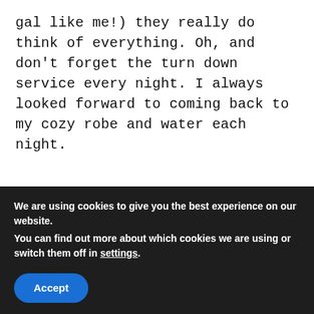gal like me!) they really do think of everything. Oh, and don't forget the turn down service every night. I always looked forward to coming back to my cozy robe and water each night.
[Figure (photo): Hotel room interior with large floor-to-ceiling windows showing city skyline. Room features a light-colored sofa, armchairs, dining table with chairs, a floor lamp, and city views.]
We are using cookies to give you the best experience on our website.
You can find out more about which cookies we are using or switch them off in settings.
Accept